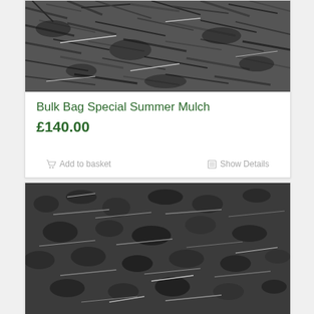[Figure (photo): Close-up black and white photo of bulk mulch/organic material texture]
Bulk Bag Special Summer Mulch
£140.00
Add to basket   Show Details
[Figure (photo): Close-up black and white photo of mulch/compost material texture, second product]